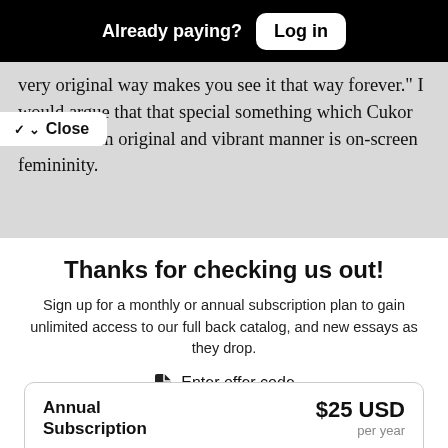Already paying? Log in
very original way makes you see it that way forever." I would argue that that special something which Cukor renders in an original and vibrant manner is on-screen femininity.
Close
Thanks for checking us out!
Sign up for a monthly or annual subscription plan to gain unlimited access to our full back catalog, and new essays as they drop.
Enter offer code
| Annual Subscription | $25 USD per year |
| --- | --- |
| Access to all articles past and present. Renews |  |